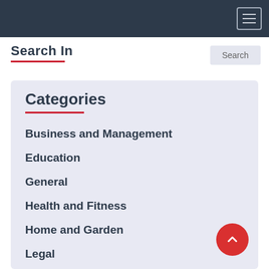Search In
Categories
Business and Management
Education
General
Health and Fitness
Home and Garden
Legal
Marketing and Advertising
Pets
Technology and Gadgets